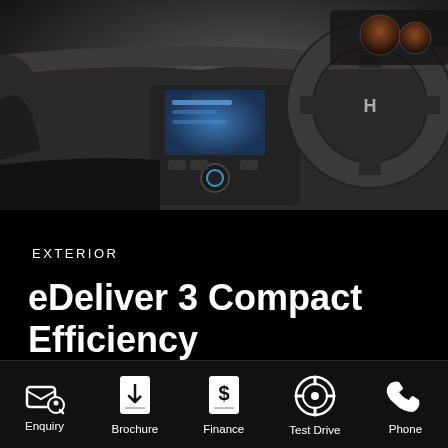[Figure (photo): Hyundai vehicle interior dashboard and steering wheel photo, dark tones, right-hand drive]
EXTERIOR
eDeliver 3 Compact Efficiency
Enquiry
Brochure
Finance
Test Drive
Phone